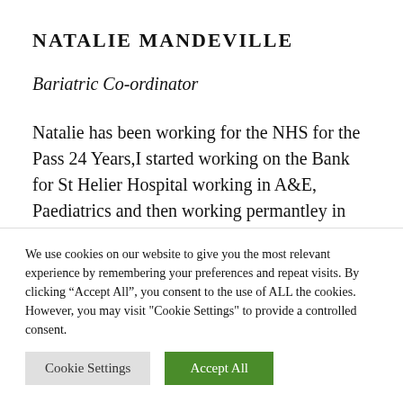NATALIE MANDEVILLE
Bariatric Co-ordinator
Natalie has been working for the NHS for the Pass 24 Years,I started working on the Bank for St Helier Hospital working in A&E, Paediatrics and then working permantley in the
We use cookies on our website to give you the most relevant experience by remembering your preferences and repeat visits. By clicking "Accept All", you consent to the use of ALL the cookies. However, you may visit "Cookie Settings" to provide a controlled consent.